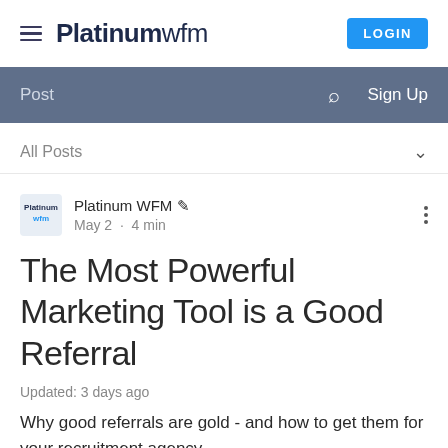Platinumwfm LOGIN
Post  Search  Sign Up
All Posts
Platinum WFM ✏  May 2 · 4 min
The Most Powerful Marketing Tool is a Good Referral
Updated: 3 days ago
Why good referrals are gold - and how to get them for your recruitment agency.